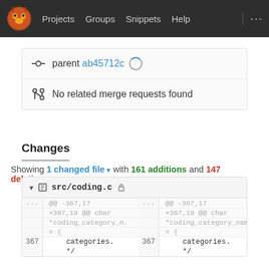Projects  Groups  Snippets  Help  ...
parent ab45712c [loading spinner]
No related merge requests found
Changes
Showing 1 changed file ▾ with 161 additions and 147 deletions
src/coding.c
|  | @@ -367,17 ... |  | @@ -367,17 |
| --- | --- | --- | --- |
|  | +367,18 @@ char |  | +367,18 @@ char |
|  | *coding_category_n. |  | *coding_category_name |
|  | = { |  | = { |
| 367 |     categories. | 367 |     categories. |
|  | */ |  | */ |